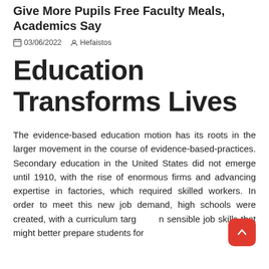Give More Pupils Free Faculty Meals, Academics Say
03/06/2022  Hefaistos
Education Transforms Lives
The evidence-based education motion has its roots in the larger movement in the course of evidence-based-practices. Secondary education in the United States did not emerge until 1910, with the rise of enormous firms and advancing expertise in factories, which required skilled workers. In order to meet this new job demand, high schools were created, with a curriculum targeted in sensible job skills that might better prepare students for